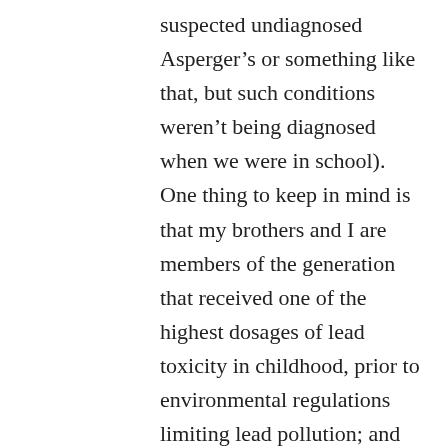suspected undiagnosed Asperger's or something like that, but such conditions weren't being diagnosed when we were in school). One thing to keep in mind is that my brothers and I are members of the generation that received one of the highest dosages of lead toxicity in childhood, prior to environmental regulations limiting lead pollution; and research has directly and strongly correlated that to higher rates of criminality, suicide, homicide, aggressive behavior, impulse control problems, lowered IQ, and stunted neurocognitive development (also